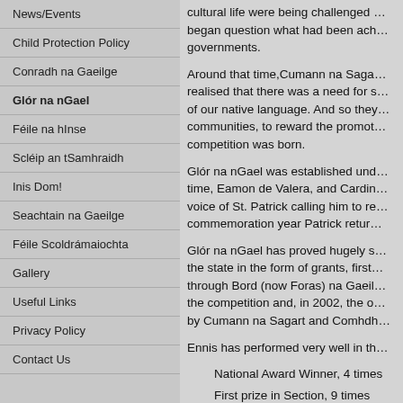News/Events
Child Protection Policy
Conradh na Gaeilge
Glór na nGael
Féile na hInse
Scléip an tSamhraidh
Inis Dom!
Seachtain na Gaeilge
Féile Scoldrámaiochta
Gallery
Useful Links
Privacy Policy
Contact Us
cultural life were being challenged … began question what had been ach… governments.
Around that time,Cumann na Saga… realised that there was a need for s… of our native language. And so they… communities, to reward the promot… competition was born.
Glór na nGael was established und… time, Eamon de Valera, and Cardin… voice of St. Patrick calling him to re… commemoration year Patrick retur…
Glór na nGael has proved hugely s… the state in the form of grants, first… through Bord (now Foras) na Gaeil… the competition and, in 2002, the o… by Cumann na Sagart and Comhdh…
Ennis has performed very well in th…
National Award Winner, 4 times
First prize in Section, 9 times
Special Awards, 5 times
The competition is co-ordinated in…